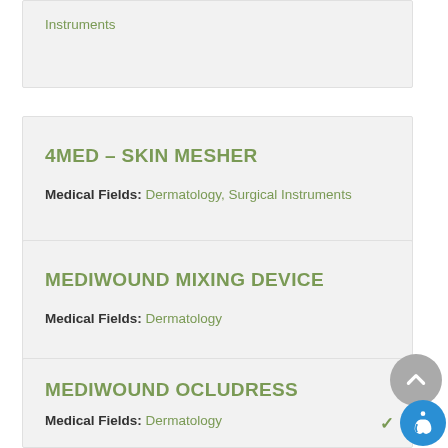Instruments
4MED – SKIN MESHER
Medical Fields: Dermatology, Surgical Instruments
MEDIWOUND MIXING DEVICE
Medical Fields: Dermatology
MEDIWOUND OCLUDRESS
Medical Fields: Dermatology